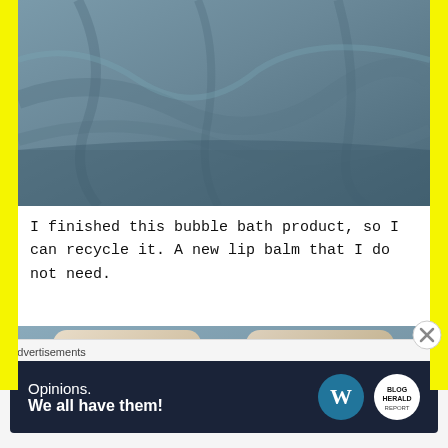[Figure (photo): Close-up photo of crumpled blue-grey fabric/cloth viewed from above]
I finished this bubble bath product, so I can recycle it. A new lip balm that I do not need.
[Figure (photo): Two square decorative items with butterfly and floral pattern on a blue-grey fabric background]
Advertisements
[Figure (screenshot): WordPress advertisement banner: 'Opinions. We all have them!' with WordPress and other logos on dark navy background]